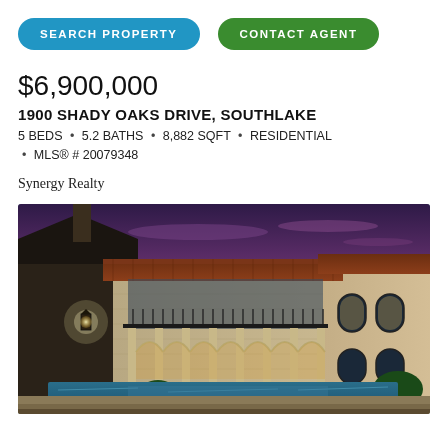SEARCH PROPERTY   CONTACT AGENT
$6,900,000
1900 SHADY OAKS DRIVE, SOUTHLAKE
5 BEDS • 5.2 BATHS • 8,882 SQFT • RESIDENTIAL • MLS® # 20079348
Synergy Realty
[Figure (photo): Exterior dusk photo of a large luxury Mediterranean-style estate with stone facade, terracotta tile roof, arched colonnade, balcony, outdoor lantern, and a swimming pool in the foreground under a purple-blue twilight sky.]